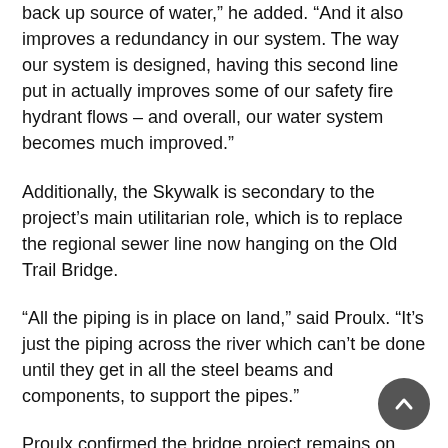back up source of water,” he added. “And it also improves a redundancy in our system. The way our system is designed, having this second line put in actually improves some of our safety fire hydrant flows – and overall, our water system becomes much improved.”
Additionally, the Skywalk is secondary to the project’s main utilitarian role, which is to replace the regional sewer line now hanging on the Old Trail Bridge.
“All the piping is in place on land,” said Proulx. “It’s just the piping across the river which can’t be done until they get in all the steel beams and components, to support the pipes.”
Proulx confirmed the bridge project remains on budget and on schedule for its mid-December completion.